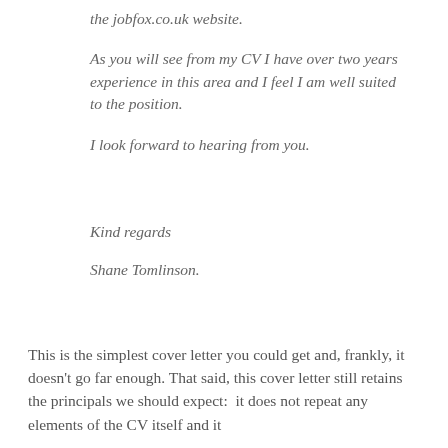the jobfox.co.uk website.
As you will see from my CV I have over two years experience in this area and I feel I am well suited to the position.
I look forward to hearing from you.
Kind regards
Shane Tomlinson.
This is the simplest cover letter you could get and, frankly, it doesn’t go far enough. That said, this cover letter still retains the principals we should expect:  it does not repeat any elements of the CV itself and it